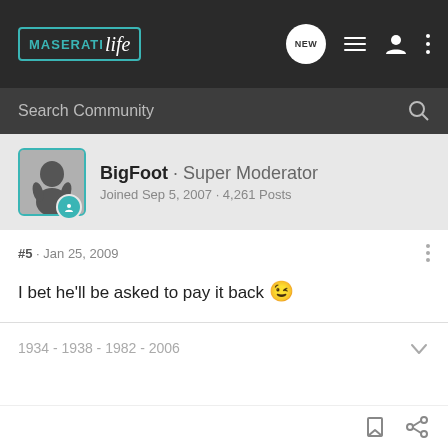MaseratiLife — navigation bar with logo, NEW chat, list, user, and menu icons
Search Community
[Figure (photo): Avatar of BigFoot with teal badge icon]
BigFoot · Super Moderator
Joined Sep 5, 2007 · 4,261 Posts
#5 · Jan 25, 2009
I bet he'll be asked to pay it back 😉
1934 - 1938 - 1982 - 2006
bookmark and share icons